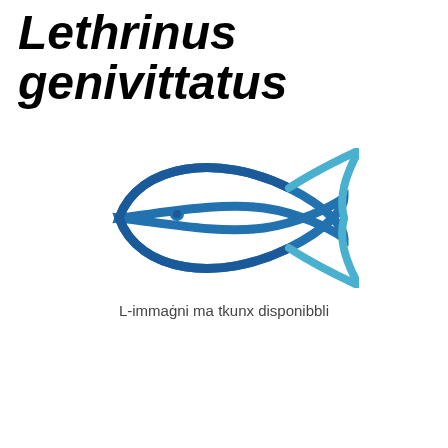Lethrinus genivittatus
[Figure (illustration): Blue fish icon/logo with a stylized fish shape made of curved lines and a dot for the eye, with caption 'L-immaġni ma tkunx disponibbli']
L-immaġni ma tkunx disponibbli
Kontenut tal-paġna
Denominazzjonijiet kummerċjali
Metodi ta' Produzzjoni u Tagħmir tas-Sajd
Distribuzzjoni tal-Ispeċijiet u Abitat
Deskrizzjoni tal-Ispeċijiet